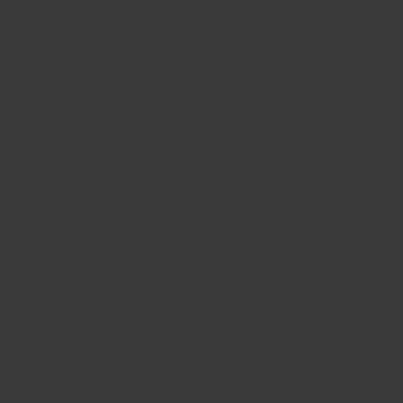[Figure (photo): A nearly uniform dark gray/charcoal background page with very subtle tonal variation, essentially a blank dark page.]